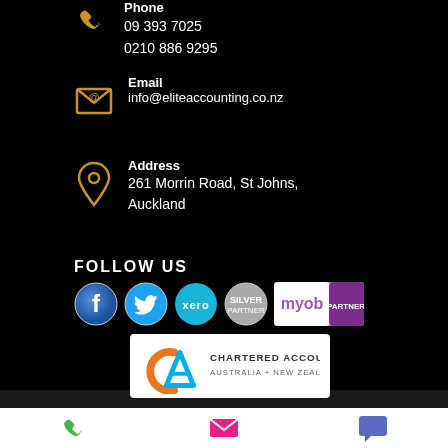Phone
09 393 7025
0210 886 9295
Email
info@eliteaccounting.co.nz
Address
261 Morrin Road, St Johns, Auckland
FOLLOW US
[Figure (logo): Social media icons: Facebook, Twitter, Xero, Silver Partner badge, MYOB Partner badge]
[Figure (logo): Chartered Accountants Australia + New Zealand logo]
[Figure (other): Bottom navigation bar with phone icon (green), email icon (pink/red), and chat icon (blue)]